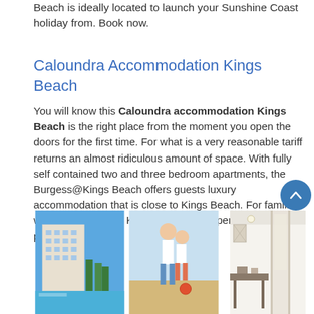Beach is ideally located to launch your Sunshine Coast holiday from. Book now.
Caloundra Accommodation Kings Beach
You will know this Caloundra accommodation Kings Beach is the right place from the moment you open the doors for the first time. For what is a very reasonable tariff returns an almost ridiculous amount of space. With fully self contained two and three bedroom apartments, the Burgess@Kings Beach offers guests luxury accommodation that is close to Kings Beach. For families with young children Kings Beach is the perfect seaside playground.
[Figure (photo): Three side-by-side photos: left shows apartment building exterior with pool, middle shows two children playing on a beach, right shows a modern interior room with curtains and furniture.]